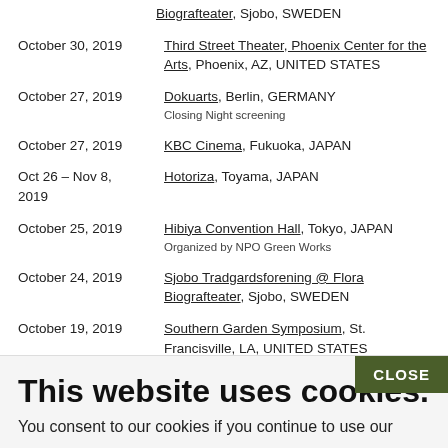Biografteater, Sjobo, SWEDEN
October 30, 2019 — Third Street Theater, Phoenix Center for the Arts, Phoenix, AZ, UNITED STATES
October 27, 2019 — Dokuarts, Berlin, GERMANY. Closing Night screening
October 27, 2019 — KBC Cinema, Fukuoka, JAPAN
Oct 26 - Nov 8, 2019 — Hotoriza, Toyama, JAPAN
October 25, 2019 — Hibiya Convention Hall, Tokyo, JAPAN. Organized by NPO Green Works
October 24, 2019 — Sjobo Tradgardsforening @ Flora Biografteater, Sjobo, SWEDEN
October 19, 2019 — Southern Garden Symposium, St. Francisville, LA, UNITED STATES
October 19, 2019 — Dokuarts, Berlin, GERMANY. Director Thomas Piner in person
This website uses cookies.
You consent to our cookies if you continue to use our